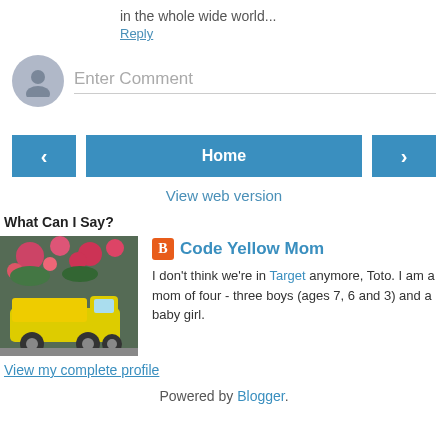in the whole wide world...
Reply
[Figure (other): Comment input area with avatar icon and placeholder text 'Enter Comment']
[Figure (other): Navigation buttons: left arrow, Home, right arrow]
View web version
What Can I Say?
[Figure (photo): Photo of a yellow toy dump truck in a garden with flowers]
Code Yellow Mom
I don't think we're in Target anymore, Toto. I am a mom of four - three boys (ages 7, 6 and 3) and a baby girl.
View my complete profile
Powered by Blogger.